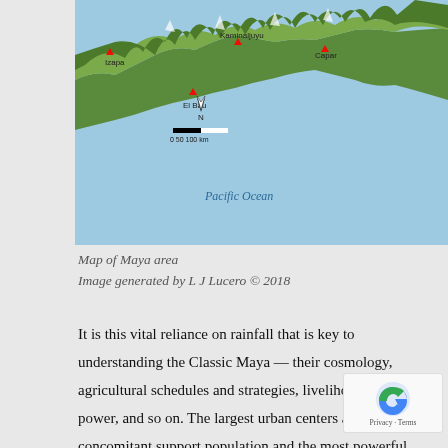[Figure (map): Map of Maya area showing the Pacific coast of Guatemala and Mexico with topographic relief, labeled sites including Izapa, Kaminaljuyu, El Bau, Capar, compass rose, scale bar (0 50 100 km), and Pacific Ocean label. Terrain shows mountainous green highlands along a coastal strip with blue ocean.]
Map of Maya area
Image generated by L J Lucero © 2018
It is this vital reliance on rainfall that is key to understanding the Classic Maya — their cosmology, agricultural schedules and strategies, livelihood, political power, and so on. The largest urban centers and concomitant support population and the most powerful kings emerged in areas with plentiful agricultural land, but without surface water such as lakes and rivers: Tikal and Naranjo in Guatemala, Calakmul in Mexico, Caracol in Bel... name a few powerhouses. But, you might be asking, if the majority of Maya lived scattered throughout the landscape, how